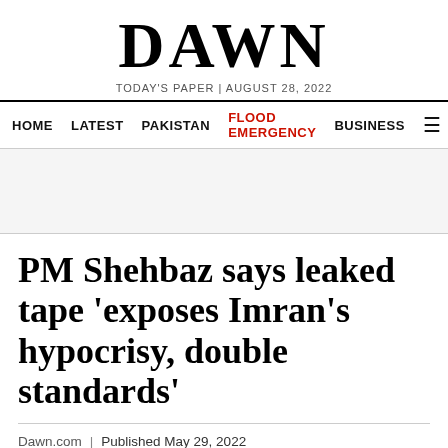DAWN
TODAY'S PAPER | AUGUST 28, 2022
HOME  LATEST  PAKISTAN  FLOOD EMERGENCY  BUSINESS
PM Shehbaz says leaked tape 'exposes Imran's hypocrisy, double standards'
Dawn.com | Published May 29, 2022
96